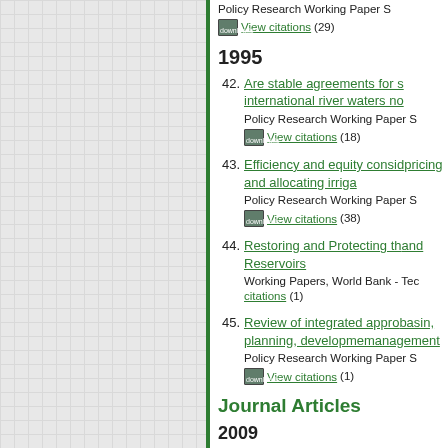Policy Research Working Paper S
downloads View citations (29)
1995
42. Are stable agreements for sharing international river waters no - Policy Research Working Paper S downloads View citations (18)
43. Efficiency and equity considerations pricing and allocating irriga - Policy Research Working Paper S downloads View citations (38)
44. Restoring and Protecting the and Reservoirs - Working Papers, World Bank - Tec View citations (1)
45. Review of integrated approaches basin, planning, development and management - Policy Research Working Paper S downloads View citations (1)
Journal Articles
2009